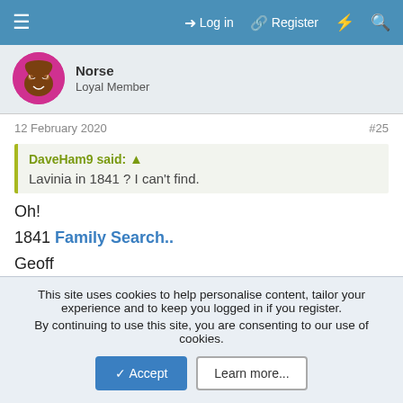≡   Log in   Register   ⚡   🔍
Norse
Loyal Member
12 February 2020   #25
DaveHam9 said: ↑
Lavinia in 1841 ? I can't find.
Oh!
1841 Family Search..
Geoff
EDIT: Image has occ= Shoe ?. Non BiC
This site uses cookies to help personalise content, tailor your experience and to keep you logged in if you register.
By continuing to use this site, you are consenting to our use of cookies.
Accept   Learn more...